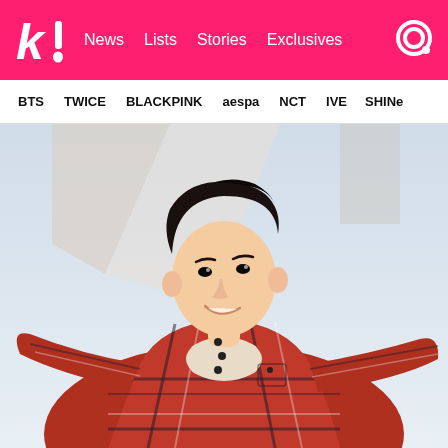k! News Lists Stories Exclusives
BTS TWICE BLACKPINK aespa NCT IVE SHINe
[Figure (photo): Young Asian male with dark hair, smiling and looking upward, wearing a red/black/white plaid flannel shirt over a cream turtleneck sweater, arms outstretched, photographed from a low angle against a light blue sky background.]